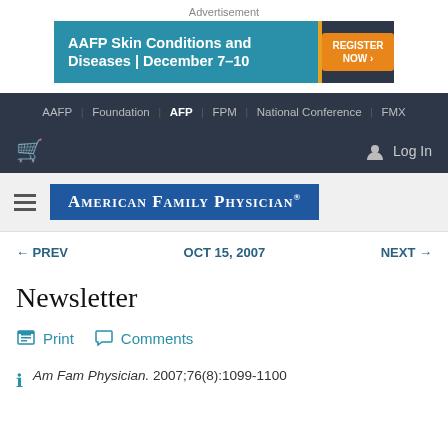Advertisement
[Figure (infographic): AAFP Skin Conditions and Diseases | December 7-10 advertisement banner with teal background and orange REGISTER NOW button]
AAFP | Foundation | AFP | FPM | National Conference | FMX
Log In
AMERICAN FAMILY PHYSICIAN
← PREV   OCT 15, 2007   NEXT →
Newsletter
Print   Comments
Am Fam Physician. 2007;76(8):1099-1100